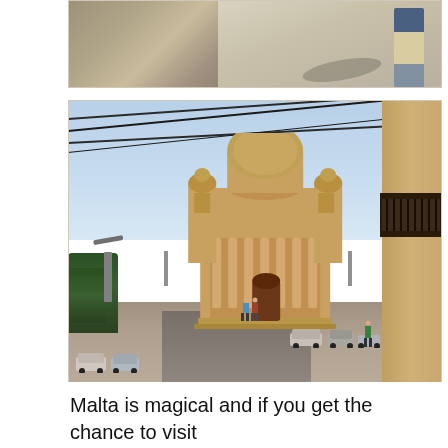[Figure (photo): Outdoor photo showing a stone wall or fortification on the left and a person walking on a wide pale stone pathway or road, with their shadow visible. The person is wearing khaki trousers and a backpack.]
[Figure (photo): Street-level photo of the Mosta Rotunda (dome church) in Malta. A large sandstone Baroque church with a prominent dome and two bell towers is centered. Overhead power/telephone wires cross the sky. A street with parked and moving cars leads to the church. A stone building with a wrought-iron balcony is on the right. Trees and streetlamps are visible on the left.]
Malta is magical and if you get the chance to visit definitely do so